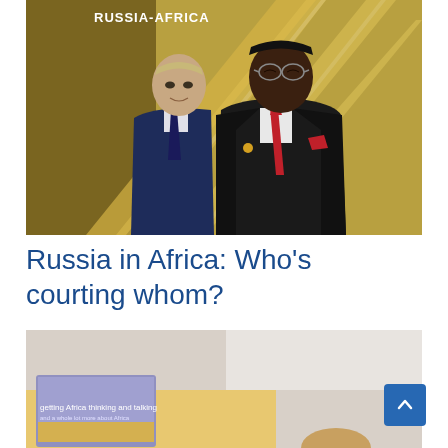[Figure (photo): Two men in suits standing in front of a Russia-Africa backdrop. The man in the foreground wears a black suit with a red tie and red pocket square. The man behind him wears a dark navy suit with a dark tie. Text 'RUSSIA-AFRICA' appears on the backdrop.]
Russia in Africa: Who’s courting whom?
[Figure (photo): Partial view of a second image showing what appears to be a conference or event setting with text 'getting Africa thinking and talking' visible on materials in the foreground.]